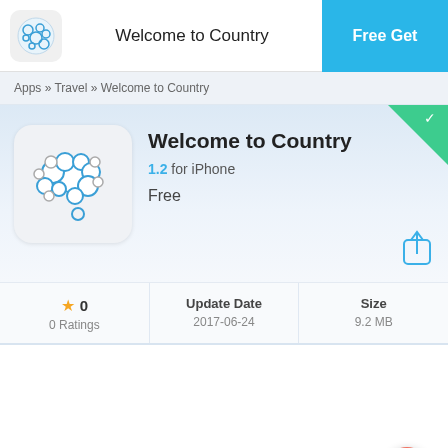Welcome to Country · Free Get
Apps » Travel » Welcome to Country
Welcome to Country
1.2 for iPhone
Free
★ 0
0 Ratings
Update Date
2017-06-24
Size
9.2 MB